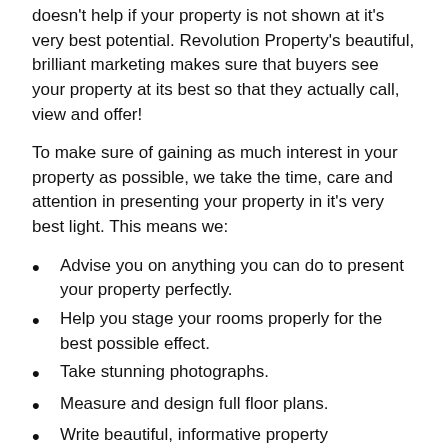doesn't help if your property is not shown at it's very best potential. Revolution Property's beautiful, brilliant marketing makes sure that buyers see your property at its best so that they actually call, view and offer!
To make sure of gaining as much interest in your property as possible, we take the time, care and attention in presenting your property in it's very best light. This means we:
Advise you on anything you can do to present your property perfectly.
Help you stage your rooms properly for the best possible effect.
Take stunning photographs.
Measure and design full floor plans.
Write beautiful, informative property descriptions.
Feature your property on all the busiest, major property websites, including Rightmove, Zoopla, Primelocation, The Sun, The Daily Mail and many many more.
Brilliant social media campaigns on Facebook, instagram,